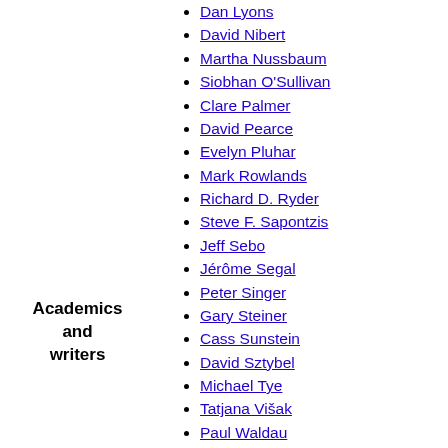Dan Lyons
David Nibert
Martha Nussbaum
Siobhan O'Sullivan
Clare Palmer
David Pearce
Evelyn Pluhar
Mark Rowlands
Richard D. Ryder
Steve F. Sapontzis
Jeff Sebo
Jérôme Segal
Peter Singer
Gary Steiner
Cass Sunstein
David Sztybel
Michael Tye
Tatjana Višak
Paul Waldau
Steven M. Wise
Corey Lee Wrenn
Academics and writers
Jeremy Bentham
David Renaud Boullier
Peter Buchan